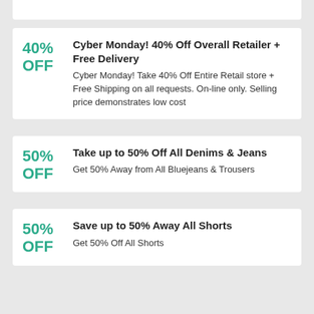40% OFF — Cyber Monday! 40% Off Overall Retailer + Free Delivery — Cyber Monday! Take 40% Off Entire Retail store + Free Shipping on all requests. On-line only. Selling price demonstrates low cost
50% OFF — Take up to 50% Off All Denims & Jeans — Get 50% Away from All Bluejeans & Trousers
50% OFF — Save up to 50% Away All Shorts — Get 50% Off All Shorts